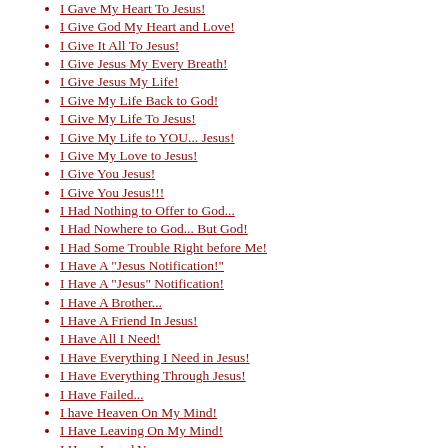I Gave My Heart To Jesus!
I Give God My Heart and Love!
I Give It All To Jesus!
I Give Jesus My Every Breath!
I Give Jesus My Life!
I Give My Life Back to God!
I Give My Life To Jesus!
I Give My Life to YOU... Jesus!
I Give My Love to Jesus!
I Give You Jesus!
I Give You Jesus!!!
I Had Nothing to Offer to God...
I Had Nowhere to God... But God!
I Had Some Trouble Right before Me!
I Have A "Jesus Notification!"
I Have A "Jesus" Notification!
I Have A Brother...
I Have A Friend In Jesus!
I Have All I Need!
I Have Everything I Need in Jesus!
I Have Everything Through Jesus!
I Have Failed...
I have Heaven On My Mind!
I Have Leaving On My Mind!
I Have Loved You...
I Have Time For Church But Not
I Hear from Many Voices....
I Hear of So Much Sin and Heartache
I Heard God Calling Me!
I Heard Jesus Call My Name...